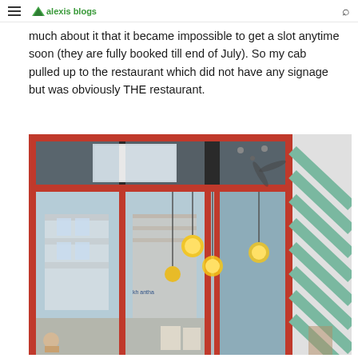alexis blogs
much about it that it became impossible to get a slot anytime soon (they are fully booked till end of July). So my cab pulled up to the restaurant which did not have any signage but was obviously THE restaurant.
[Figure (photo): Exterior photo of a restaurant with distinctive red metal framing around large glass windows and doors. The ceiling inside is dark with globe pendant lights. On the right side there are teal/green diagonal awning stripes.]